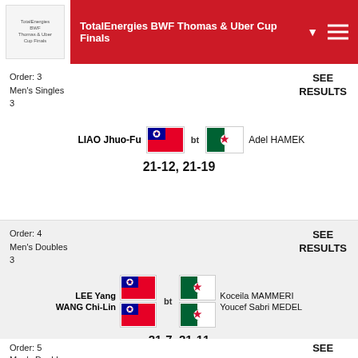TotalEnergies BWF Thomas & Uber Cup Finals
Order: 3
Men's Singles
3
SEE RESULTS
LIAO Jhuo-Fu bt Adel HAMEK
21-12, 21-19
Order: 4
Men's Doubles
3
SEE RESULTS
LEE Yang / WANG Chi-Lin bt Koceila MAMMERI / Youcef Sabri MEDEL
21-7, 21-11
Order: 5
Men's Doubles
3
SEE RESULTS